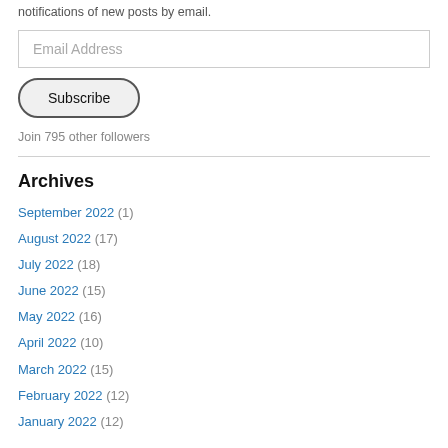notifications of new posts by email.
Email Address
Subscribe
Join 795 other followers
Archives
September 2022 (1)
August 2022 (17)
July 2022 (18)
June 2022 (15)
May 2022 (16)
April 2022 (10)
March 2022 (15)
February 2022 (12)
January 2022 (12)